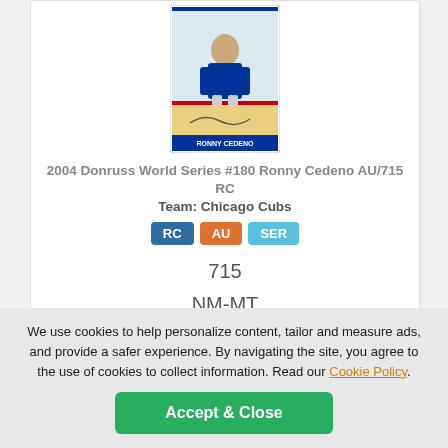[Figure (photo): Trading card image for 2004 Donruss World Series #180 Ronny Cedeno AU/715 RC]
2004 Donruss World Series #180 Ronny Cedeno AU/715 RC
Team: Chicago Cubs
RC  AU  SER
715
NM-MT
1
$5.00
ADD TO CART
We use cookies to help personalize content, tailor and measure ads, and provide a safer experience. By navigating the site, you agree to the use of cookies to collect information. Read our Cookie Policy.
Accept & Close